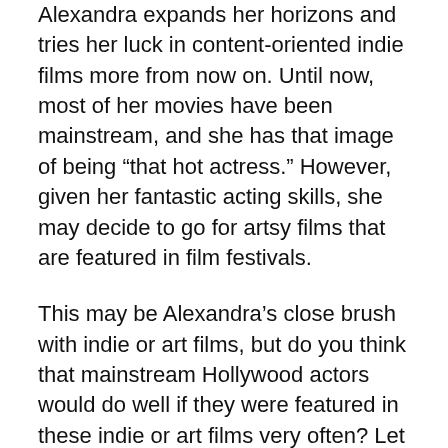Alexandra expands her horizons and tries her luck in content-oriented indie films more from now on. Until now, most of her movies have been mainstream, and she has that image of being “that hot actress.” However, given her fantastic acting skills, she may decide to go for artsy films that are featured in film festivals.
This may be Alexandra’s close brush with indie or art films, but do you think that mainstream Hollywood actors would do well if they were featured in these indie or art films very often? Let us know in the comments section below.
5. Early Decision